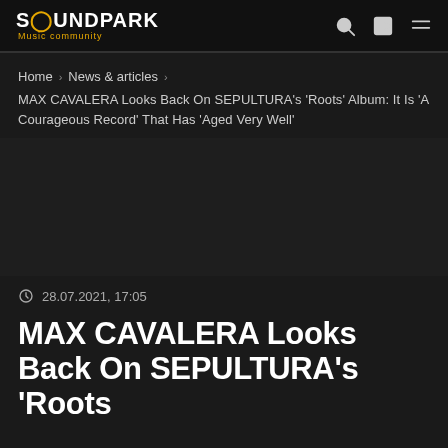SOUNDPARK Music community
Home › News & articles ›
MAX CAVALERA Looks Back On SEPULTURA's 'Roots' Album: It Is 'A Courageous Record' That Has 'Aged Very Well'
28.07.2021, 17:05
MAX CAVALERA Looks Back On SEPULTURA's 'Roots' ...